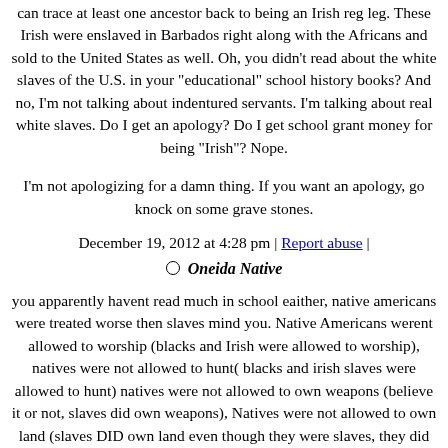can trace at least one ancestor back to being an Irish reg leg. These Irish were enslaved in Barbados right along with the Africans and sold to the United States as well. Oh, you didn't read about the white slaves of the U.S. in your "educational" school history books? And no, I'm not talking about indentured servants. I'm talking about real white slaves. Do I get an apology? Do I get school grant money for being "Irish"? Nope.
I'm not apologizing for a damn thing. If you want an apology, go knock on some grave stones.
December 19, 2012 at 4:28 pm | Report abuse |
Oneida Native
you apparently havent read much in school eaither, native americans were treated worse then slaves mind you. Native Americans werent allowed to worship (blacks and Irish were allowed to worship), natives were not allowed to hunt( blacks and irish slaves were allowed to hunt) natives were not allowed to own weapons (believe it or not, slaves did own weapons), Natives were not allowed to own land (slaves DID own land even though they were slaves, they did have there own plot of land). please go to school or read a